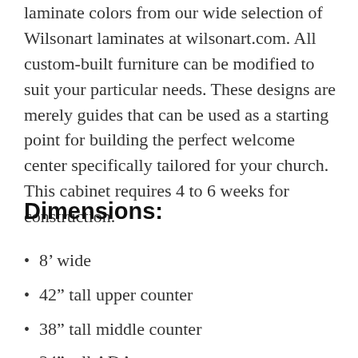laminate colors from our wide selection of Wilsonart laminates at wilsonart.com. All custom-built furniture can be modified to suit your particular needs. These designs are merely guides that can be used as a starting point for building the perfect welcome center specifically tailored for your church. This cabinet requires 4 to 6 weeks for construction.
Dimensions:
8’ wide
42” tall upper counter
38” tall middle counter
34” tall ADA counter